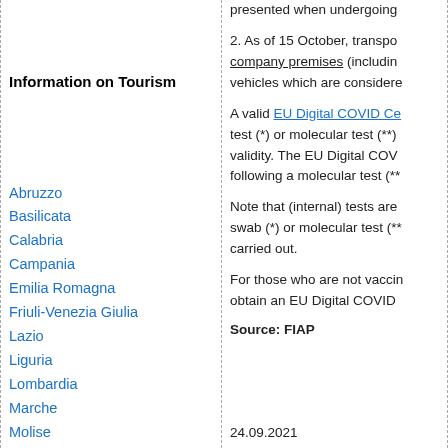Information on Tourism
Abruzzo
Basilicata
Calabria
Campania
Emilia Romagna
Friuli-Venezia Giulia
Lazio
Liguria
Lombardia
Marche
Molise
Piemonte
Provincia Autonoma di Bolza
Provincia Autonoma di Trent
presented when undergoing
2. As of 15 October, transpo company premises (includin vehicles which are considere
A valid EU Digital COVID Ce test (*) or molecular test (**) validity. The EU Digital COV following a molecular test (**
Note that (internal) tests are swab (*) or molecular test (** carried out.
For those who are not vaccin obtain an EU Digital COVID
Source: FIAP
24.09.2021